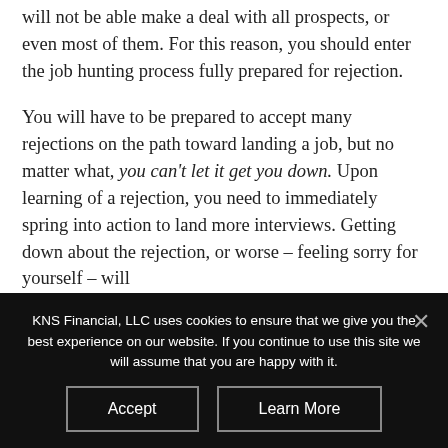will not be able make a deal with all prospects, or even most of them. For this reason, you should enter the job hunting process fully prepared for rejection.
You will have to be prepared to accept many rejections on the path toward landing a job, but no matter what, you can't let it get you down. Upon learning of a rejection, you need to immediately spring into action to land more interviews. Getting down about the rejection, or worse – feeling sorry for yourself – will
KNS Financial, LLC uses cookies to ensure that we give you the best experience on our website. If you continue to use this site we will assume that you are happy with it.